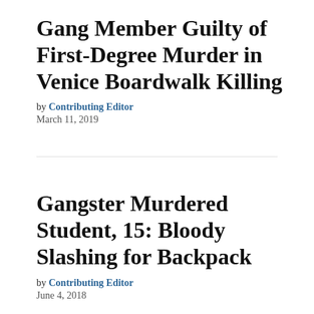Gang Member Guilty of First-Degree Murder in Venice Boardwalk Killing
by Contributing Editor
March 11, 2019
Gangster Murdered Student, 15: Bloody Slashing for Backpack
by Contributing Editor
June 4, 2018
Gang Member's First-Degree